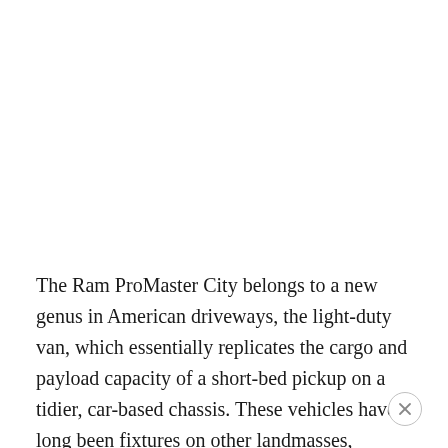The Ram ProMaster City belongs to a new genus in American driveways, the light-duty van, which essentially replicates the cargo and payload capacity of a short-bed pickup on a tidier, car-based chassis. These vehicles have long been fixtures on other landmasses, particularly Europe, and have consequently benefited from R&D on someone else's time and turf.